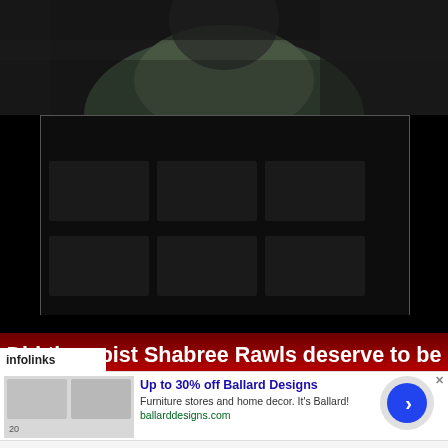[Figure (photo): Person in dark clothing, partially visible from above]
Music Videos
[Figure (screenshot): Dark music videos embed area]
Did therapist Shabree Rawls deserve to be fired for her harsh delivery in her videos about telling black men to go to therapy?
[Figure (infographic): Infolinks advertisement banner for Ballard Designs: Up to 30% off Ballard Designs. Furniture stores and home decor. It's Ballard! ballarddesigns.com]